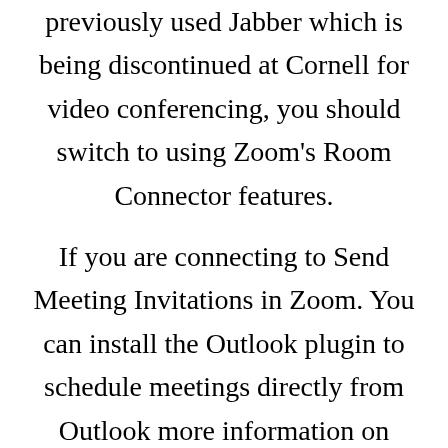previously used Jabber which is being discontinued at Cornell for video conferencing, you should switch to using Zoom's Room Connector features.
If you are connecting to Send Meeting Invitations in Zoom. You can install the Outlook plugin to schedule meetings directly from Outlook more information on Zoom's Use the Outlook Plugin page , or you can copy and paste the meeting invitation in to a new Transfer Files During Zoom Meetings.